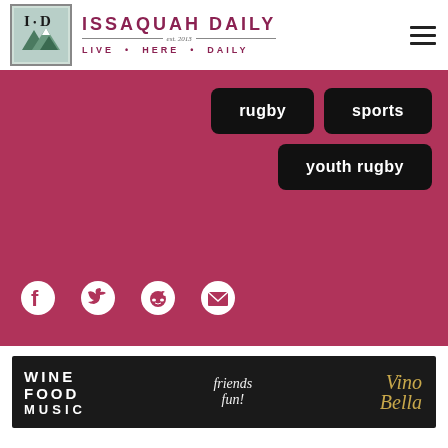[Figure (logo): Issaquah Daily logo with mountain/landscape icon in a square border, site name ISSAQUAH DAILY, tagline LIVE • HERE • DAILY, est. 2013]
[Figure (other): Navigation tag buttons: rugby, sports, youth rugby on crimson/rose background]
[Figure (other): Social sharing icons: Facebook, Twitter, Reddit, Email on crimson/rose background]
[Figure (other): Vino Bella advertisement banner: WINE FOOD MUSIC, friends fun!, Vino Bella logo on dark background]
The Panthers Youth Rugby Club is currently underrepresented from players in Issaquah and actively